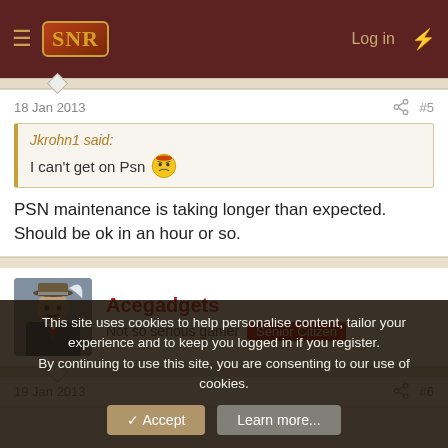SNR — Log in
18 Jan 2013  #5
Jkrohn1 said:
I can't get on Psn 😟
PSN maintenance is taking longer than expected. Should be ok in an hour or so.
Acegadgets
Not so serious gamer  Senior Citizen
19 Jan 2013  #6
This site uses cookies to help personalise content, tailor your experience and to keep you logged in if you register.
By continuing to use this site, you are consenting to our use of cookies.
✓ Accept   Learn more...